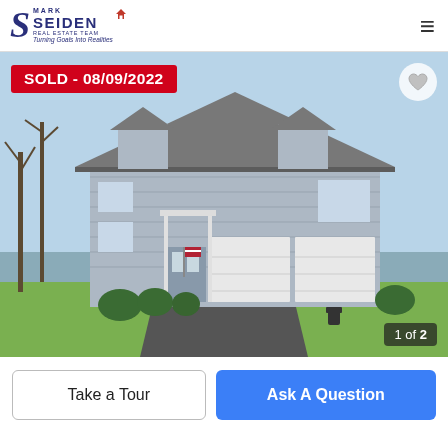Mark Seiden Real Estate Team - Turning Goals Into Realities
[Figure (photo): Exterior photo of a two-story colonial-style house with gray shingle siding, two-car garage, American flag, and well-manicured front lawn. Overlay: SOLD - 08/09/2022 badge top-left, heart icon top-right, photo counter '1 of 2' bottom-right.]
SOLD - 08/09/2022
1 of 2
Take a Tour
Ask A Question